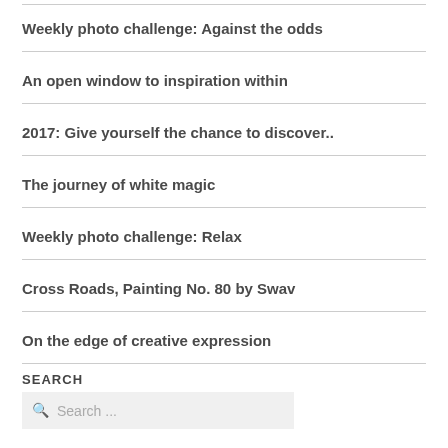Weekly photo challenge: Against the odds
An open window to inspiration within
2017: Give yourself the chance to discover..
The journey of white magic
Weekly photo challenge: Relax
Cross Roads, Painting No. 80 by Swav
On the edge of creative expression
SEARCH